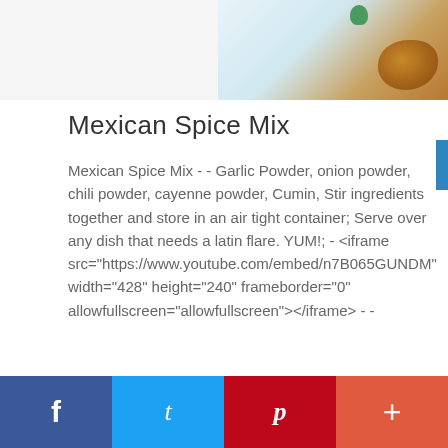[Figure (photo): Partial photo of spices/food items on a light background, showing brown spice mound with green herb garnish in upper right corner]
Mexican Spice Mix
Mexican Spice Mix - - Garlic Powder, onion powder, chili powder, cayenne powder, Cumin, Stir ingredients together and store in an air tight container; Serve over any dish that needs a latin flare. YUM!; - <iframe src="https://www.youtube.com/embed/n7B065GUNDM" width="428" height="240" frameborder="0" allowfullscreen="allowfullscreen"></iframe> - -
By Elisha, CNC | January 25th, 2018 | 0 Comments
Read More ›